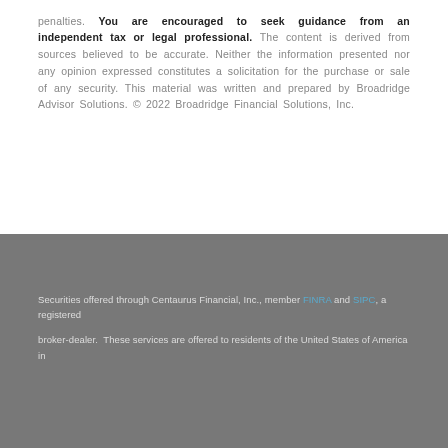penalties. You are encouraged to seek guidance from an independent tax or legal professional. The content is derived from sources believed to be accurate. Neither the information presented nor any opinion expressed constitutes a solicitation for the purchase or sale of any security. This material was written and prepared by Broadridge Advisor Solutions. © 2022 Broadridge Financial Solutions, Inc.
Securities offered through Centaurus Financial, Inc., member FINRA and SIPC, a registered broker-dealer. These services are offered to residents of the United States of America in